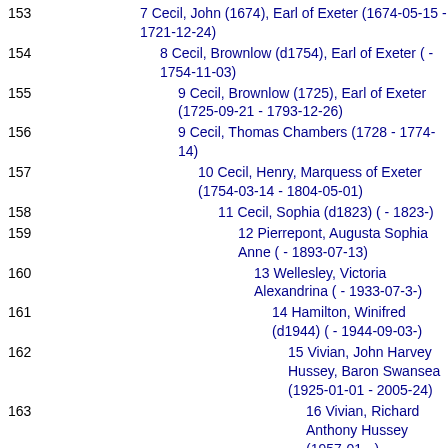153   7 Cecil, John (1674), Earl of Exeter (1674-05-15 - 1721-12-24)
154   8 Cecil, Brownlow (d1754), Earl of Exeter ( - 1754-11-03)
155   9 Cecil, Brownlow (1725), Earl of Exeter (1725-09-21 - 1793-12-26)
156   9 Cecil, Thomas Chambers (1728 - 1774-14)
157   10 Cecil, Henry, Marquess of Exeter (1754-03-14 - 1804-05-01)
158   11 Cecil, Sophia (d1823) ( - 1823-)
159   12 Pierrepont, Augusta Sophia Anne ( - 1893-07-13)
160   13 Wellesley, Victoria Alexandrina ( - 1933-07-3-)
161   14 Hamilton, Winifred (d1944) ( - 1944-09-03-)
162   15 Vivian, John Harvey Hussey, Baron Swansea (1925-01-01 - 2005-24)
163   16 Vivian, Richard Anthony Hussey (1957-01 - )